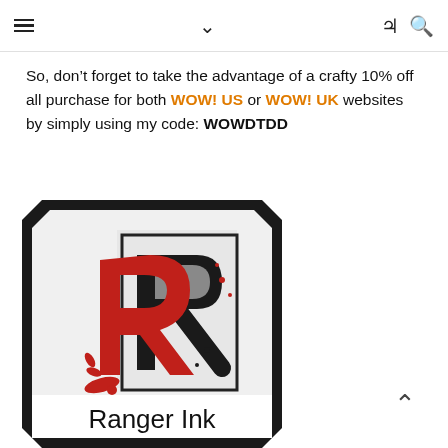☰  ˅  ☾  🔍
So, don't forget to take the advantage of a crafty 10% off all purchase for both WOW! US or WOW! UK websites by simply using my code: WOWDTDD
[Figure (logo): Ranger Ink logo: a black tag-shaped border containing a large stylized red and black letter R with ink splatter effects, and 'Ranger Ink' text in a white banner at the bottom]